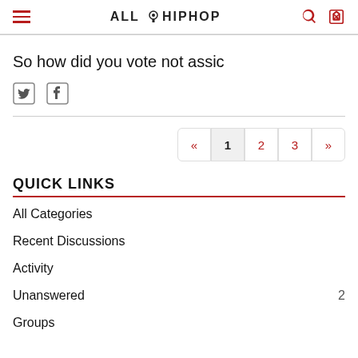ALL HIP HOP
So how did you vote not assic
[Figure (other): Twitter and Facebook social share icons]
« 1 2 3 »
QUICK LINKS
All Categories
Recent Discussions
Activity
Unanswered 2
Groups